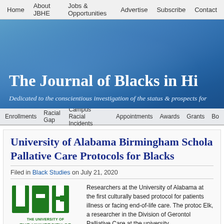Home | About JBHE | Jobs & Opportunities | Advertise | Subscribe | Contact
[Figure (illustration): Blue banner with the text 'The Journal of Blacks in Hi' and subtitle 'Dedicated to the conscientious investigation of the status & prospects for']
Enrollments | Racial Gap | Campus Racial Incidents | Appointments | Awards | Grants | Bo
University of Alabama Birmingham Schola Pallative Care Protocols for Blacks
Filed in Black Studies on July 21, 2020
[Figure (logo): UAB logo - The University of Alabama at Birmingham green block letters]
Researchers at the University of Alabama at the first culturally based protocol for patients illness or facing end-of-life care. The proto Elk, a researcher in the Division of Gerontol Palliative Care at the university.